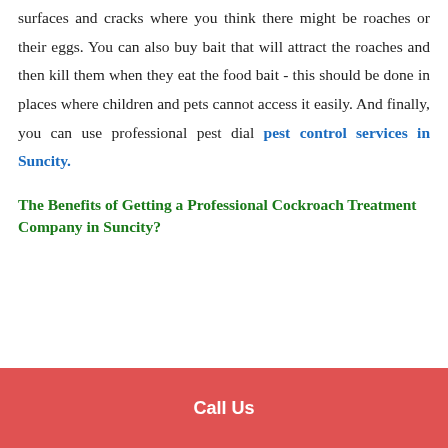surfaces and cracks where you think there might be roaches or their eggs. You can also buy bait that will attract the roaches and then kill them when they eat the food bait - this should be done in places where children and pets cannot access it easily. And finally, you can use professional pest dial pest control services in Suncity.
The Benefits of Getting a Professional Cockroach Treatment Company in Suncity?
Call Us